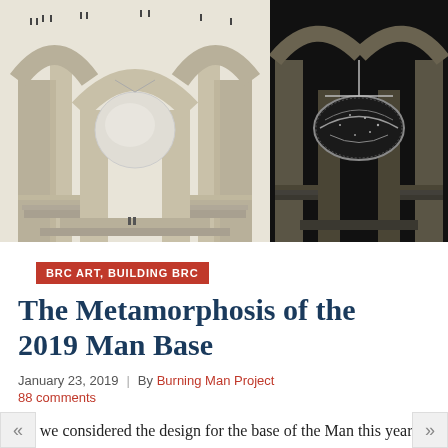[Figure (illustration): Two architectural renderings side by side of the 2019 Burning Man base structure — left shows a light daytime view with arches and a suspended sphere, right shows a dark nighttime/rendered view of the same structure with textured sphere]
BRC ART, BUILDING BRC
The Metamorphosis of the 2019 Man Base
January 23, 2019  |  By Burning Man Project
88 comments
As we considered the design for the base of the Man this year, we were keenly aware that this was the brainchild of our founder, Larry Harvey. Every year he convened his close comrades and cooked up the design he felt would push our edges, support the message of the theme, create a place for Burning Man participan